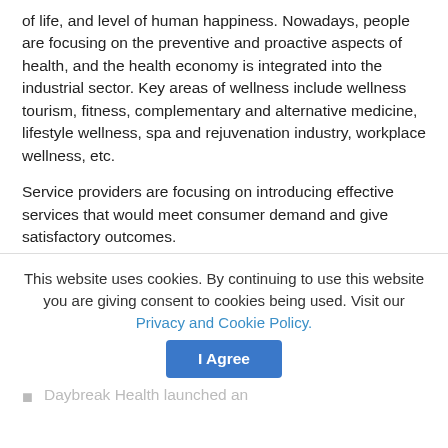of life, and level of human happiness. Nowadays, people are focusing on the preventive and proactive aspects of health, and the health economy is integrated into the industrial sector. Key areas of wellness include wellness tourism, fitness, complementary and alternative medicine, lifestyle wellness, spa and rejuvenation industry, workplace wellness, etc.
Service providers are focusing on introducing effective services that would meet consumer demand and give satisfactory outcomes.
For instance, in July 2020, Daybreak Health launched an online mental health therapy for teens amid the COVID-19 pandemic's mental health crisis.
This website uses cookies. By continuing to use this website you are giving consent to cookies being used. Visit our Privacy and Cookie Policy.